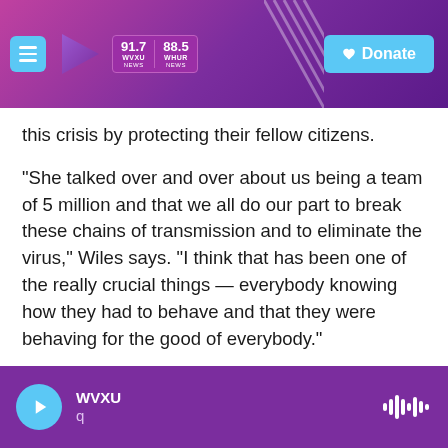WVXU 91.7 NEWS | 88.5 WHUR NEWS | Donate
this crisis by protecting their fellow citizens.
"She talked over and over about us being a team of 5 million and that we all do our part to break these chains of transmission and to eliminate the virus," Wiles says. "I think that has been one of the really crucial things — everybody knowing how they had to behave and that they were behaving for the good of everybody."
Wiles heard the prime minister's calls for everyone to come together so many times that she refers to it as Ardern doing her "united thing,"
WVXU q